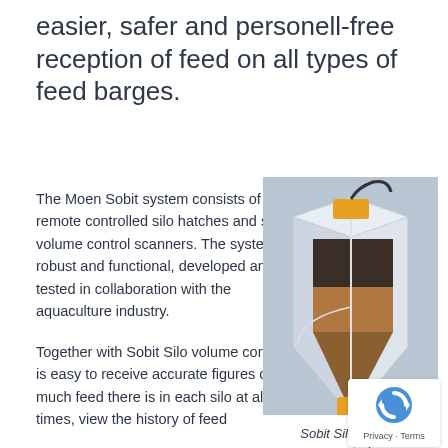easier, safer and personell-free reception of feed on all types of feed barges.
The Moen Sobit system consists of remote controlled silo hatches and silo volume control scanners. The system is robust and functional, developed and tested in collaboration with the aquaculture industry.
Together with Sobit Silo volume control, it is easy to receive accurate figures on how much feed there is in each silo at all times, view the history of feed
[Figure (photo): 3D cutaway illustration of a Sobit Silo volume control scanner showing internal components, feed material inside a hopper silo, with orange actuator components at top and bottom]
Sobit Silo volume control